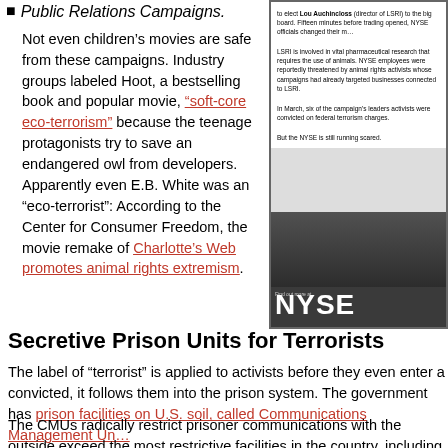Public Relations Campaigns.
Not even children’s movies are safe from these campaigns. Industry groups labeled Hoot, a bestselling book and popular movie, “soft-core eco-terrorism” because the teenage protagonists try to save an endangered owl from developers. Apparently even E.B. White was an “eco-terrorist”: According to the Center for Consumer Freedom, the movie remake of Charlotte’s Web promotes animal rights extremism.
[Figure (photo): A newspaper or magazine advertisement clipping featuring text about NYSE and LSRI, with a dark image at the bottom showing a person and the NYSE logo.]
Secretive Prison Units for Terrorists
The label of “terrorist” is applied to activists before they even enter a courtroom. Once convicted, it follows them into the prison system. The government has created two secretive prison facilities on U.S. soil, called Communications Management Units, to hold so-called “domestic terrorists.”
The CMUs radically restrict prisoner communications with the outside world and, by some accounts, exceed the most restrictive facilities in the country, including the “…